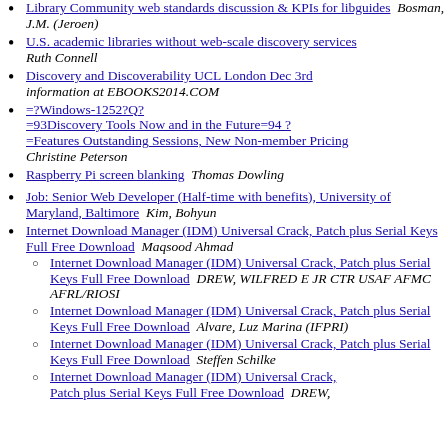Library Community web standards discussion & KPIs for libguides  Bosman, J.M. (Jeroen)
U.S. academic libraries without web-scale discovery services  Ruth Connell
Discovery and Discoverability UCL London Dec 3rd information at EBOOKS2014.COM
=?Windows-1252?Q?=93Discovery Tools Now and in the Future=94 ?=Features Outstanding Sessions, New Non-member Pricing  Christine Peterson
Raspberry Pi screen blanking  Thomas Dowling
Job: Senior Web Developer (Half-time with benefits), University of Maryland, Baltimore  Kim, Bohyun
Internet Download Manager (IDM) Universal Crack, Patch plus Serial Keys Full Free Download  Maqsood Ahmad
Internet Download Manager (IDM) Universal Crack, Patch plus Serial Keys Full Free Download  DREW, WILFRED E JR CTR USAF AFMC AFRL/RIOSI
Internet Download Manager (IDM) Universal Crack, Patch plus Serial Keys Full Free Download  Alvare, Luz Marina (IFPRI)
Internet Download Manager (IDM) Universal Crack, Patch plus Serial Keys Full Free Download  Steffen Schilke
Internet Download Manager (IDM) Universal Crack, Patch plus Serial Keys Full Free Download  DREW,